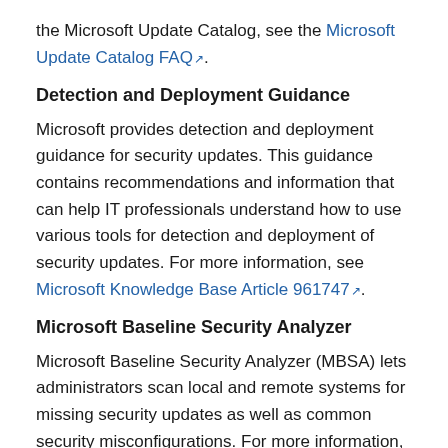the Microsoft Update Catalog, see the Microsoft Update Catalog FAQ.
Detection and Deployment Guidance
Microsoft provides detection and deployment guidance for security updates. This guidance contains recommendations and information that can help IT professionals understand how to use various tools for detection and deployment of security updates. For more information, see Microsoft Knowledge Base Article 961747.
Microsoft Baseline Security Analyzer
Microsoft Baseline Security Analyzer (MBSA) lets administrators scan local and remote systems for missing security updates as well as common security misconfigurations. For more information, see Microsoft Baseline Security Analyzer.